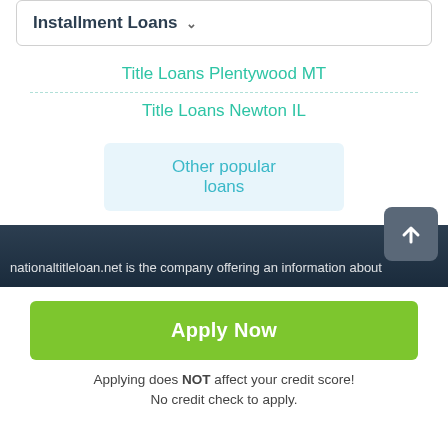Installment Loans ∨
Title Loans Plentywood MT
Title Loans Newton IL
Other popular loans
nationaltitleloan.net is the company offering an information about
Apply Now
Applying does NOT affect your credit score! No credit check to apply.